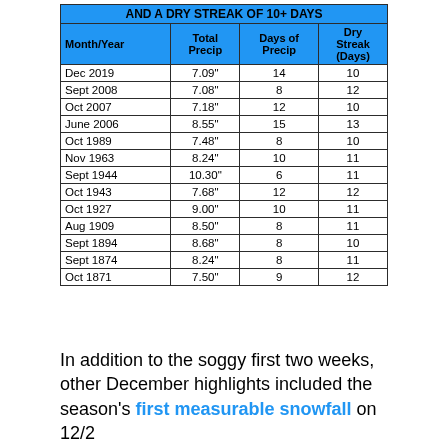| Month/Year | Total Precip | Days of Precip | Dry Streak (Days) |
| --- | --- | --- | --- |
| Dec 2019 | 7.09" | 14 | 10 |
| Sept 2008 | 7.08" | 8 | 12 |
| Oct 2007 | 7.18" | 12 | 10 |
| June 2006 | 8.55" | 15 | 13 |
| Oct 1989 | 7.48" | 8 | 10 |
| Nov 1963 | 8.24" | 10 | 11 |
| Sept 1944 | 10.30" | 6 | 11 |
| Oct 1943 | 7.68" | 12 | 12 |
| Oct 1927 | 9.00" | 10 | 11 |
| Aug 1909 | 8.50" | 8 | 11 |
| Sept 1894 | 8.68" | 8 | 10 |
| Sept 1874 | 8.24" | 8 | 11 |
| Oct 1871 | 7.50" | 9 | 12 |
In addition to the soggy first two weeks, other December highlights included the season's first measurable snowfall on 12/2